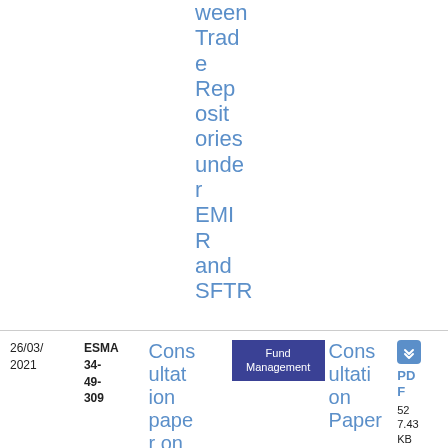ween Trade Repositories under EMIR and SFTR
26/03/2021
ESMA 34-49-309
Consultation paper on EU Money
Fund Management
Consultation Paper
PDF 52 7.43 KB